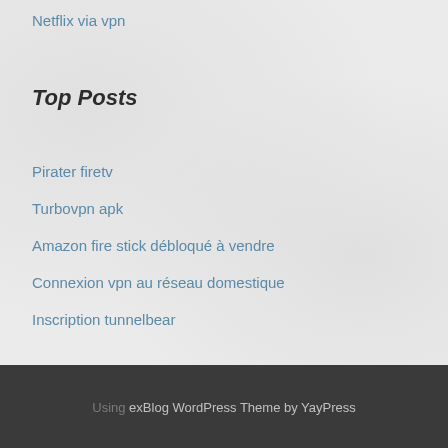Netflix via vpn
Top Posts
Pirater firetv
Turbovpn apk
Amazon fire stick débloqué à vendre
Connexion vpn au réseau domestique
Inscription tunnelbear
Using exBlog WordPress Theme by YayPress